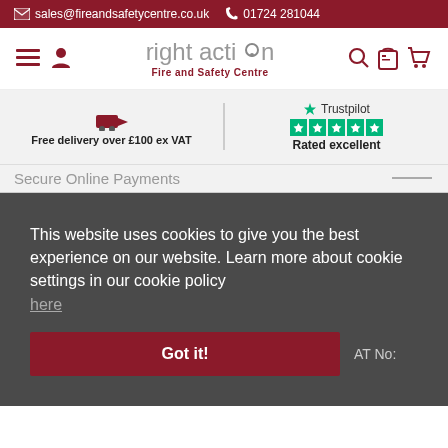sales@fireandsafetycentre.co.uk  01724 281044
[Figure (logo): Right Action Fire and Safety Centre logo with hamburger menu, user icon, search, clipboard and basket icons]
Free delivery over £100 ex VAT
Trustpilot Rated excellent
Secure Online Payments
This website uses cookies to give you the best experience on our website. Learn more about cookie settings in our cookie policy here
Got it!
AT No: